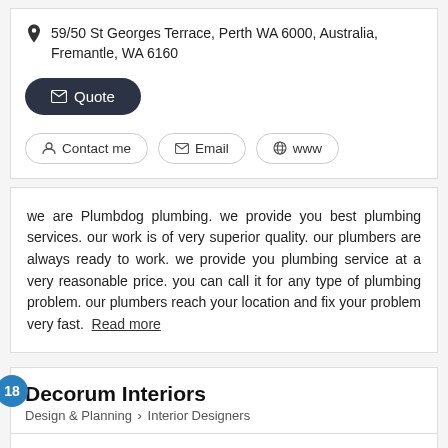59/50 St Georges Terrace, Perth WA 6000, Australia, Fremantle, WA 6160
Quote
Contact me  Email  www
we are Plumbdog plumbing. we provide you best plumbing services. our work is of very superior quality. our plumbers are always ready to work. we provide you plumbing service at a very reasonable price. you can call it for any type of plumbing problem. our plumbers reach your location and fix your problem very fast.  Read more
18
Decorum Interiors
Design & Planning > Interior Designers
Fremantle, WA